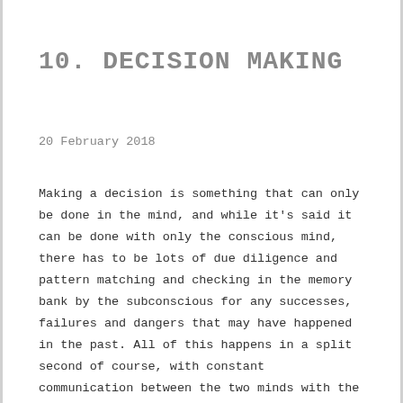10. DECISION MAKING
20 February 2018
Making a decision is something that can only be done in the mind, and while it's said it can be done with only the conscious mind, there has to be lots of due diligence and pattern matching and checking in the memory bank by the subconscious for any successes, failures and dangers that may have happened in the past. All of this happens in a split second of course, with constant communication between the two minds with the conscious mind finally collating